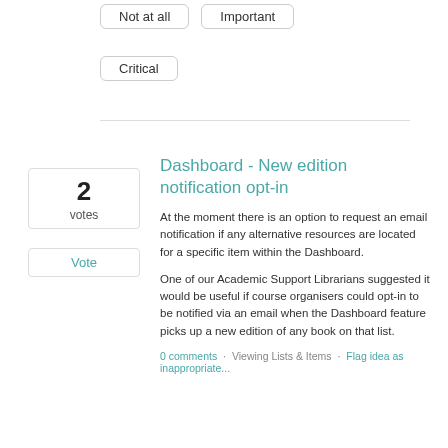Not at all
Important
Critical
Dashboard - New edition notification opt-in
At the moment there is an option to request an email notification if any alternative resources are located for a specific item within the Dashboard.
One of our Academic Support Librarians suggested it would be useful if course organisers could opt-in to be notified via an email when the Dashboard feature picks up a new edition of any book on that list.
0 comments · Viewing Lists & Items · Flag idea as inappropriate...